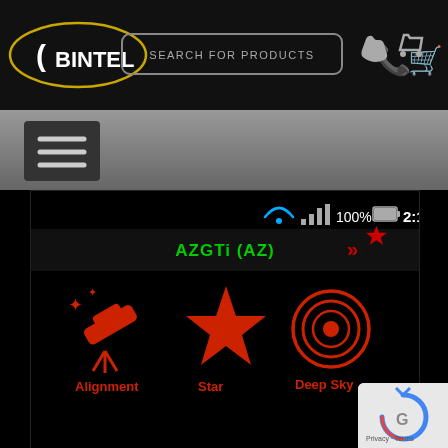[Figure (screenshot): Bintel website header with logo, search bar, phone and cart icons]
[Figure (screenshot): Navigation bar with hamburger menu icon on grey gradient background]
[Figure (screenshot): Mobile app screenshot showing AZGTi (AZ) app with Alignment, Star, and Deep Sky icons on black background with status bar showing WiFi, signal, 100% battery and 2:12 PM]